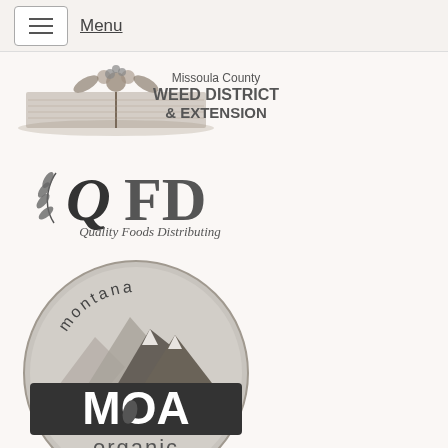Menu
[Figure (logo): Missoula County Weed District & Extension logo with illustrated book and plants]
[Figure (logo): QFD Quality Foods Distributing logo with wheat/leaf emblem]
[Figure (logo): Montana MOA Organic Association circular badge logo with mountain silhouette]
[Figure (logo): Western Montana logo circular badge, partially visible at bottom]